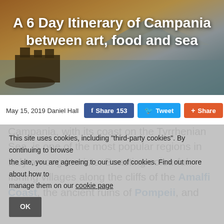[Figure (photo): Hero image of Castel dell'Ovo in Naples bay at sunset with mountains in background, warm orange and blue tones]
A 6 Day Itinerary of Campania between art, food and sea
May 15, 2019 Daniel Hall
Share 153 | Tweet | Share | 3
Campania, with its coast on the Tyrrhenian Sea, is one of the most popular regions in Italy among tourists. Boasting colourful fishing villages along the cliffs of the Amalfi Coast, the ancient ruins of Pompeii, and
This site uses cookies, including "third-party cookies". By continuing to browse the site, you are agreeing to our use of cookies. Find out more about how to manage them on our cookie page